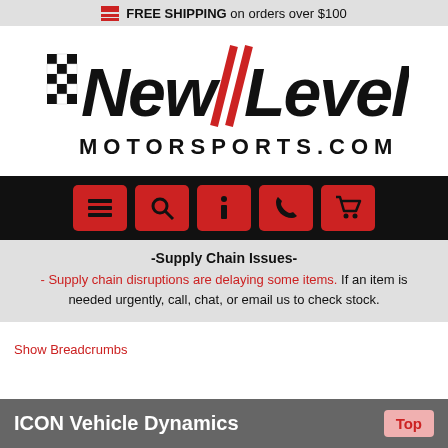FREE SHIPPING on orders over $100
[Figure (logo): NewLevel Motorsports.com logo with checkered flag and red diagonal slash]
[Figure (infographic): Black navigation bar with five red square icon buttons: menu, search, info, phone, cart]
-Supply Chain Issues-
- Supply chain disruptions are delaying some items. If an item is needed urgently, call, chat, or email us to check stock.
Show Breadcrumbs
ICON Vehicle Dynamics